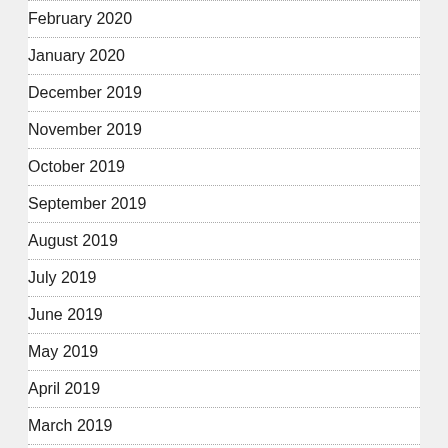February 2020
January 2020
December 2019
November 2019
October 2019
September 2019
August 2019
July 2019
June 2019
May 2019
April 2019
March 2019